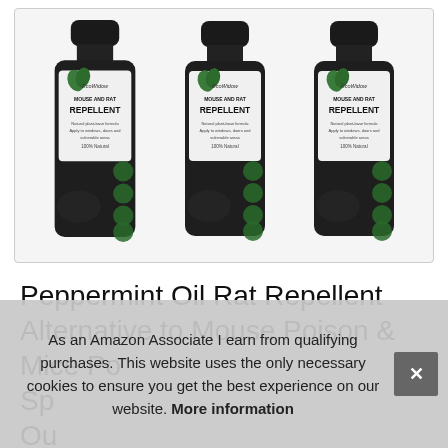[Figure (photo): Three dark bottles of EcoWidow Mouse and Rat Repellent product, shown side by side on a white background inside a rounded rectangle border.]
Peppermint Oil Rat Repellent Alternative to Mouse Poison & Mice Po... Sp... Ou...
As an Amazon Associate I earn from qualifying purchases. This website uses the only necessary cookies to ensure you get the best experience on our website. More information